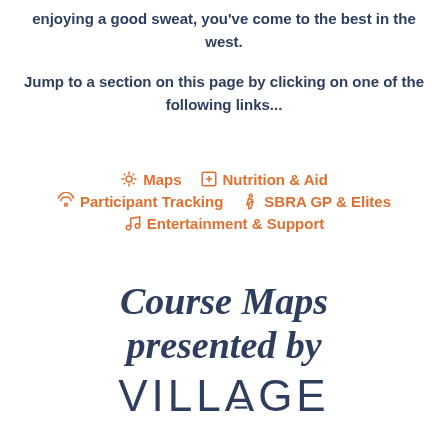enjoying a good sweat, you've come to the best in the west.
Jump to a section on this page by clicking on one of the following links...
Maps
Nutrition & Aid
Participant Tracking
SBRA GP & Elites
Entertainment & Support
Course Maps presented by
VILLAGE